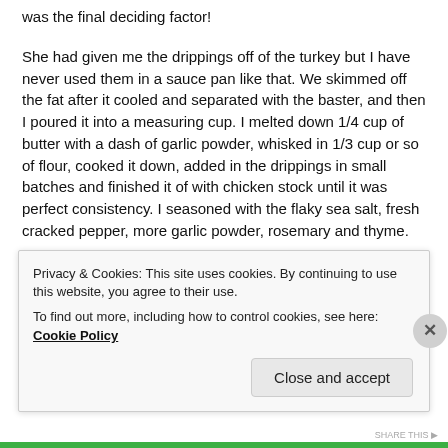was the final deciding factor!
She had given me the drippings off of the turkey but I have never used them in a sauce pan like that. We skimmed off the fat after it cooled and separated with the baster, and then I poured it into a measuring cup. I melted down 1/4 cup of butter with a dash of garlic powder, whisked in 1/3 cup or so of flour, cooked it down, added in the drippings in small batches and finished it of with chicken stock until it was perfect consistency. I seasoned with the flaky sea salt, fresh cracked pepper, more garlic powder, rosemary and thyme.
It had this mind-blinding taste that the whole dining int...
Privacy & Cookies: This site uses cookies. By continuing to use this website, you agree to their use.
To find out more, including how to control cookies, see here: Cookie Policy
Close and accept